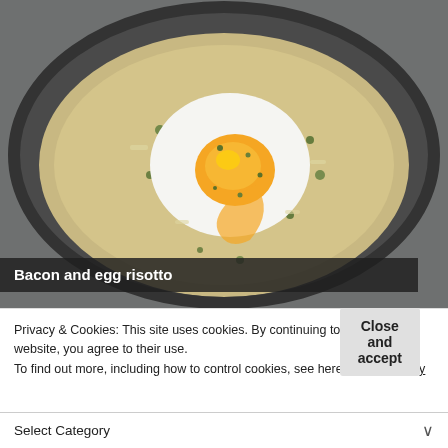[Figure (photo): A pan containing bacon and egg risotto — a runny fried egg with bright orange yolk sits in the center of creamy risotto garnished with green herbs, in a dark skillet.]
Bacon and egg risotto
Privacy & Cookies: This site uses cookies. By continuing to use this website, you agree to their use.
To find out more, including how to control cookies, see here: Cookie Policy
Close and accept
Select Category